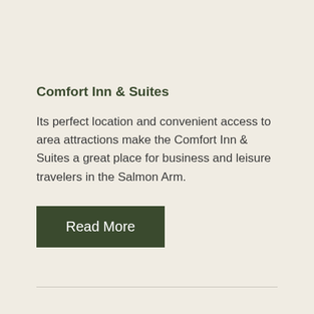Comfort Inn & Suites
Its perfect location and convenient access to area attractions make the Comfort Inn & Suites a great place for business and leisure travelers in the Salmon Arm.
Read More